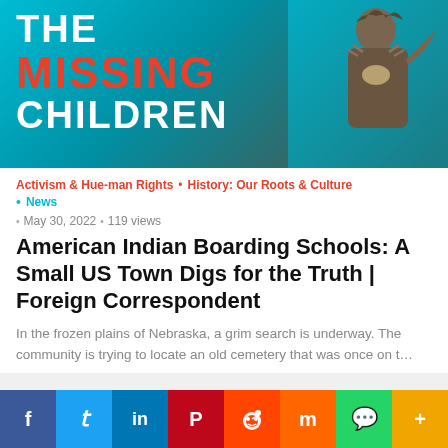[Figure (photo): Banner image for article about The Missing Children featuring text THE MISSING CHILDREN in white and red on teal background with a Native American figure/statue on the right side]
Activism & Hue-man Rights • History: Our Roots & Culture • News
May 30, 2022 • 119 views
American Indian Boarding Schools: A Small US Town Digs for the Truth | Foreign Correspondent
In the frozen plains of Nebraska, a grim search is underway. The community is trying to locate an old cemetery that was once on t…
[Figure (infographic): Social media sharing bar with icons for Facebook, Twitter, LinkedIn, Pinterest, Reddit, Mix, WhatsApp, and More]